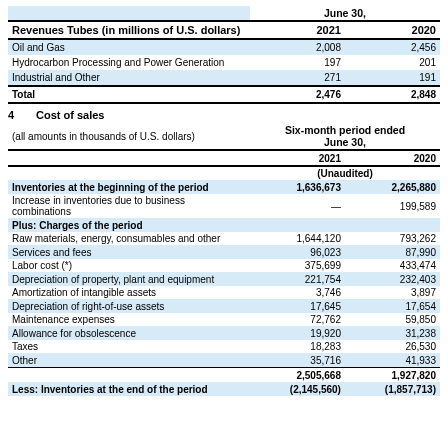| Revenues Tubes (in millions of U.S. dollars) | June 30, 2021 | June 30, 2020 |
| --- | --- | --- |
| Oil and Gas | 2,008 | 2,456 |
| Hydrocarbon Processing and Power Generation | 197 | 201 |
| Industrial and Other | 271 | 191 |
| Total | 2,476 | 2,848 |
4    Cost of sales
| (all amounts in thousands of U.S. dollars) | Six-month period ended June 30, 2021 | Six-month period ended June 30, 2020 |
| --- | --- | --- |
|  | (Unaudited) | (Unaudited) |
| Inventories at the beginning of the period | 1,636,673 | 2,265,880 |
| Increase in inventories due to business combinations | — | 199,589 |
| Plus: Charges of the period |  |  |
| Raw materials, energy, consumables and other | 1,644,120 | 793,262 |
| Services and fees | 96,023 | 87,990 |
| Labor cost (*) | 375,699 | 433,474 |
| Depreciation of property, plant and equipment | 221,754 | 232,403 |
| Amortization of intangible assets | 3,746 | 3,897 |
| Depreciation of right-of-use assets | 17,645 | 17,654 |
| Maintenance expenses | 72,762 | 59,850 |
| Allowance for obsolescence | 19,920 | 31,238 |
| Taxes | 18,283 | 26,530 |
| Other | 35,716 | 41,933 |
|  | 2,505,668 | 1,927,820 |
| Less: Inventories at the end of the period | (2,145,560) | (1,857,713) |